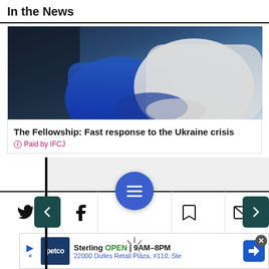In the News
[Figure (photo): Photo of people embracing, one wearing a blue jacket and another in a white jacket, dark background]
The Fellowship: Fast response to the Ukraine crisis
ⓘ Paid by IFCJ
[Figure (screenshot): Carousel/slideshow widget with left and right navigation buttons and a loading spinner, gray background]
[Figure (infographic): Bottom toolbar with Twitter, Facebook, menu FAB button, bookmark, and email icons; advertisement banner for Petco Sterling location showing OPEN 9AM-8PM, 22000 Dulles Retail Plaza, #110, Ste]